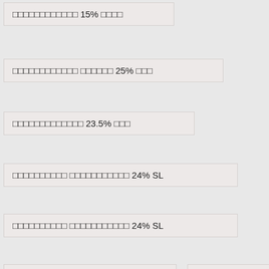□□□□□□□□□□□□ 15% □□□□
□□□□□□□□□□□□ □□□□□□ 25% □□□
□□□□□□□□□□□□□ 23.5% □□□
□□□□□□□□□□ □□□□□□□□□□□ 24% SL
□□□□□□□□□□ □□□□□□□□□□□ 24% SL
□□□□□□□□□□□ 21.7% □□□□
□□□□□□ 10% □□□□
□□□□□□□□□ 70% WP
□□□□□□□□□□ □□□□□□□□□□□ 1% WP